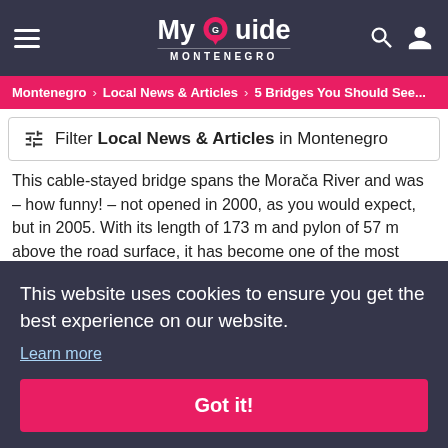My Guide Montenegro
Montenegro > Local News & Articles > 5 Bridges You Should See...
Filter Local News & Articles in Montenegro
This cable-stayed bridge spans the Morača River and was – how funny! – not opened in 2000, as you would expect, but in 2005. With its length of 173 m and pylon of 57 m above the road surface, it has become one of the most prominent landmarks of Podgorica.
This website uses cookies to ensure you get the best experience on our website.
Learn more
Got it!